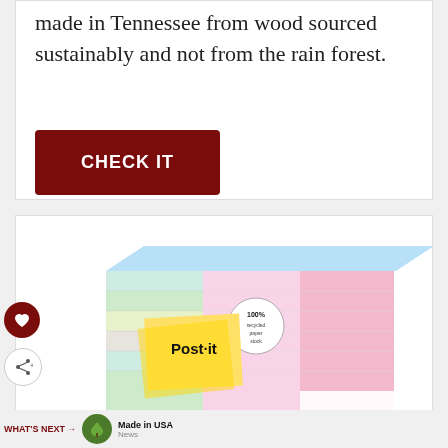made in Tennessee from wood sourced sustainably and not from the rain forest.
CHECK IT
[Figure (photo): Post-it notes product package — pastel colored sticky note pads in a box, with Post-it logo and '100% recycled paper' badge visible, and text 'notes | feuillets' at the bottom]
WHAT'S NEXT → Made in USA News